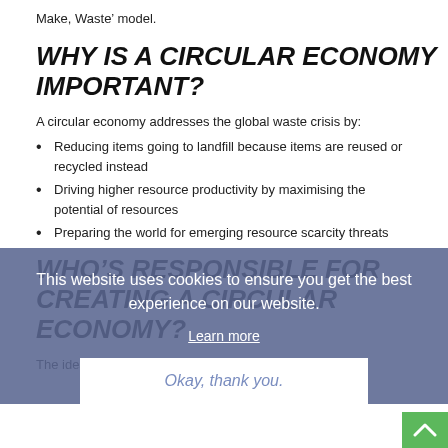Make, Waste’ model.
WHY IS A CIRCULAR ECONOMY IMPORTANT?
A circular economy addresses the global waste crisis by:
Reducing items going to landfill because items are reused or recycled instead
Driving higher resource productivity by maximising the potential of resources
Preparing the world for emerging resource scarcity threats
WHO’S RESPONSIBLE FOR CREATING A CIRCULAR ECONOMY?
The idea of a circular economy applies to individuals